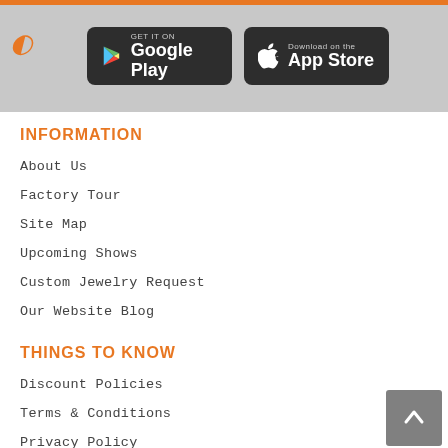[Figure (screenshot): Header bar with Google Play and App Store download buttons on grey background with orange top bar and orange C logo]
INFORMATION
About Us
Factory Tour
Site Map
Upcoming Shows
Custom Jewelry Request
Our Website Blog
THINGS TO KNOW
Discount Policies
Terms & Conditions
Privacy Policy
Payment and Refund Option
Testimonials